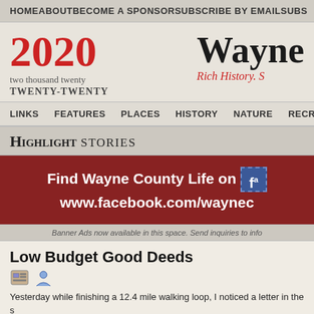HOME   ABOUT   BECOME A SPONSOR   SUBSCRIBE BY EMAIL   SUBS...
2020
two thousand twenty
TWENTY-TWENTY
Wayne County Life
Rich History. S...
LINKS   FEATURES   PLACES   HISTORY   NATURE   RECREATION
HIGHLIGHT STORIES
[Figure (infographic): Dark red banner with white bold text: 'Find Wayne County Life on [Facebook icon] www.facebook.com/wayneco...']
Banner Ads now available in this space. Send inquiries to info...
Low Budget Good Deeds
Yesterday while finishing a 12.4 mile walking loop, I noticed a letter in the s... stopped, picked it up and found it was from a local resident, stamped and a... correctional facility in NYS. I have no idea who the individuals whose names... the letter into a mailbox. I abandoned that correspondence, at the expense of...